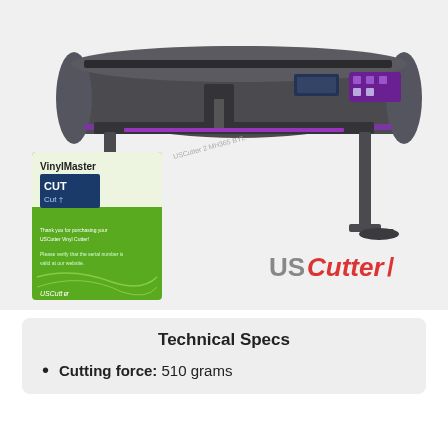[Figure (photo): A vinyl cutter plotter machine (USCutter brand) shown at an angle on a stand, with a VinylMaster Cut software box shown in the foreground lower left. USCutter logo visible in lower right of image.]
Technical Specs
Cutting force: 510 grams